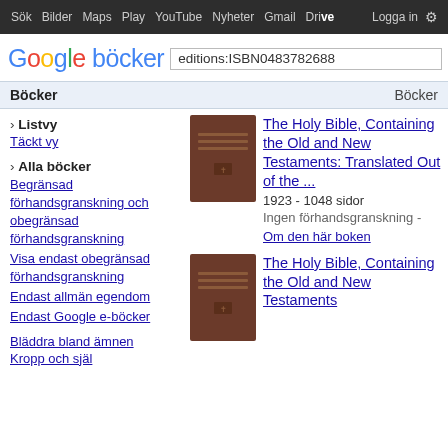Sök  Bilder  Maps  Play  YouTube  Nyheter  Gmail  Drive  Logga in  ⚙
[Figure (screenshot): Google böcker logo with search box containing 'editions:ISBN0483782688']
Böcker   Böcker
› Listvy
Täckt vy
› Alla böcker
Begränsad förhandsgranskning och obegränsad förhandsgranskning
Visa endast obegränsad förhandsgranskning
Endast allmän egendom
Endast Google e-böcker
Bläddra bland ämnen
Kropp och själ
The Holy Bible, Containing the Old and New Testaments: Translated Out of the ...
1923 - 1048 sidor
Ingen förhandsgranskning - Om den här boken
The Holy Bible, Containing the Old and New Testaments